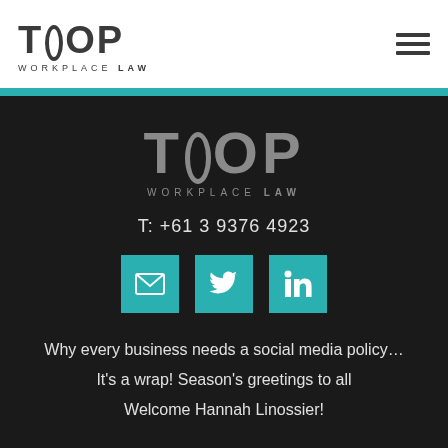[Figure (logo): TOOP WORKPLACE LAW logo in dark text on white header bar]
[Figure (logo): Hamburger menu icon (three horizontal lines) in top right]
[Figure (logo): TOOP WORKPLACE LAW logo in grey on dark background]
T: +61 3 9376 4923
[Figure (infographic): Three teal social media icons: email, Twitter, LinkedIn]
Why every business needs a social media policy…
It's a wrap! Season's greetings to all
Welcome Hannah Linossier!